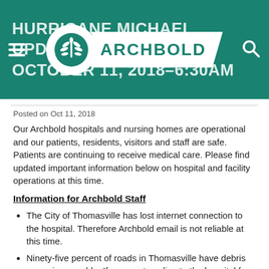HURRICANE MICHAEL UPDATE–OCTOBER 11, 2018–6:30AM
[Figure (logo): Archbold Medical Center logo: white circle with green plant/fern emblem, next to white banner with 'ARCHBOLD' in green letters]
Posted on Oct 11, 2018
Our Archbold hospitals and nursing homes are operational and our patients, residents, visitors and staff are safe. Patients are continuing to receive medical care. Please find updated important information below on hospital and facility operations at this time.
Information for Archbold Staff
The City of Thomasville has lost internet connection to the hospital. Therefore Archbold email is not reliable at this time.
Ninety-five percent of roads in Thomasville have debris or are impassable. If you are traveling to the hospital for your shift, please leave early as you are likely to encounter delays.